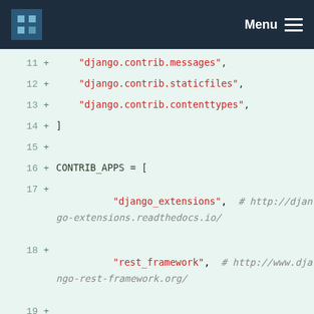Menu
[Figure (screenshot): Code diff view showing Python Django settings file additions, lines 11-25, with line numbers, plus signs indicating additions, string literals in red, keywords in dark blue, and comments/URLs in gray italic, on a light green background.]